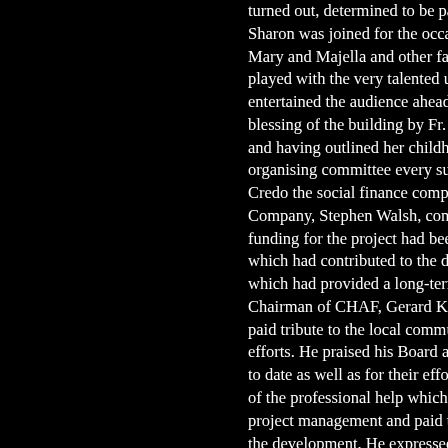turned out, determined to be part Sharon was joined for the occasio Mary and Majella and other family played with the very talented u-18 entertained the audience ahead o blessing of the building by Fr. Dar and having outlined her childhood organising committee every succe Credo the social finance company Company, Stephen Walsh, congra funding for the project had been s which had contributed to the deve which had provided a long-term le Chairman of CHAF, Gerard Kenne paid tribute to the local community efforts. He praised his Board and to date as well as for their efforts i of the professional help which the project management and paid trib the development. He expressed a would ensure the upkeep and con which the centre had to offer. Sha